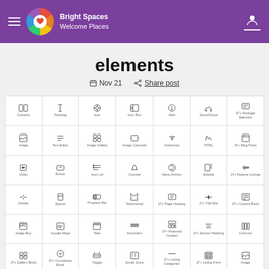[Figure (screenshot): Website header with purple background, hamburger menu, Bright Spaces Welcome Places logo, and user icon on the right]
elements
📅 Nov 21   Share post
[Figure (screenshot): Grid of website element icons including: Columns, Heading, Icon, Icon Box, Alert, SoundCloud, 37+ Package Selection, Image, Text Editor, Image Gallery, Image Carousel, Download, HTML, 37+ Blog Posts, Video, Button, Icon List, Counter, Menu Anchor, Sidebar, 37+ Feature Listings, Divider, Spacer, Progress Bar, Testimonial, 37+ Page Heading, 37+ Title Bar, 37+ Content Block, Image Box, Google Maps, Tabs, Accordion, 37+ Featured Content, 37+ Section Heading, Columns, 37+ Gallery Block, 37+ Countdown Block, Toggle, Social Icons, 37+ Listing Categories, 37+ Listing Form, Image, 37+ List Block, 37+ Table Block, 37+ Add Listing Form, 37+ Info Cards, 37+ Team, 37+ Manage, Video, 37+ Accordion Block, 37+ Tabs Block, 37+ Featured Section, 37+ Testimonials, 37+ Screen Slider, 37+ Map, Divider]